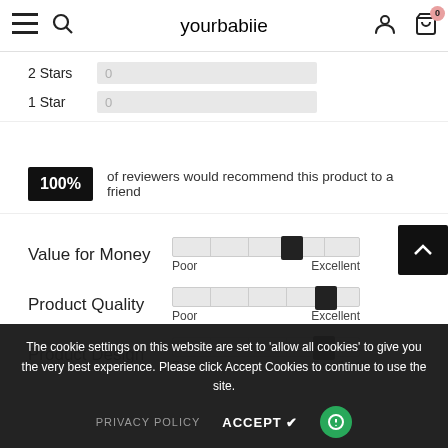yourbabiie — navigation header with menu, search, account, and cart icons
2 Stars  0
1 Star  0
100% of reviewers would recommend this product to a friend
Value for Money
[Figure (other): Slider scale from Poor to Excellent for Value for Money, thumb positioned slightly right of center]
Product Quality
[Figure (other): Slider scale from Poor to Excellent for Product Quality, thumb positioned near right]
Product Design
[Figure (other): Slider scale from Poor to Excellent for Product Design, thumb positioned near right]
The cookie settings on this website are set to 'allow all cookies' to give you the very best experience. Please click Accept Cookies to continue to use the site.
PRIVACY POLICY   ACCEPT ✔